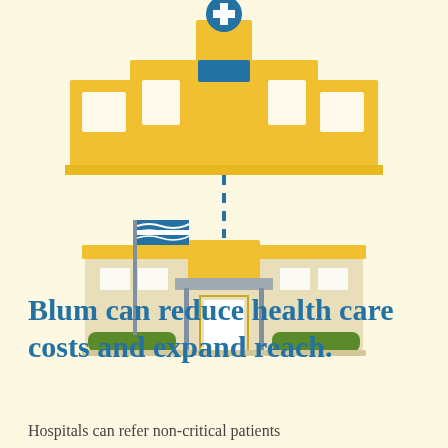[Figure (illustration): Illustration of a hospital building (top, taller yellow structure with blue cross and medical sign) connected by a dashed blue vertical line to a lower government/community building (with US flag, green bushes, entrance canopy). Represents hospital-to-clinic referral concept.]
Blum can reduce health care costs and expand reach.
Hospitals can refer non-critical patients